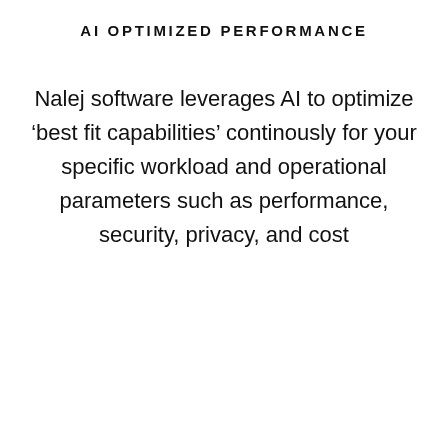AI OPTIMIZED PERFORMANCE
Nalej software leverages AI to optimize ‘best fit capabilities’ continously for your specific workload and operational parameters such as performance, security, privacy, and cost